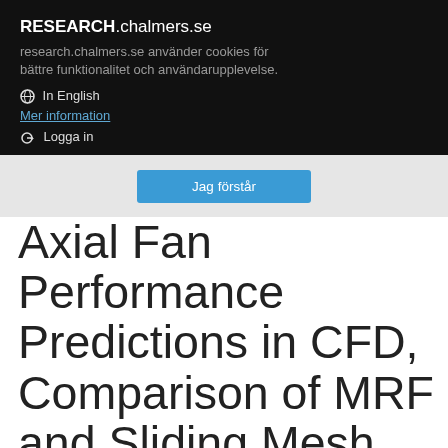RESEARCH.chalmers.se
research.chalmers.se använder cookies för bättre funktionalitet och användarupplevelse.
🌐 In English
Mer information
➜ Logga in
Jag förstår
Axial Fan Performance Predictions in CFD, Comparison of MRF and Sliding Mesh with Experiments